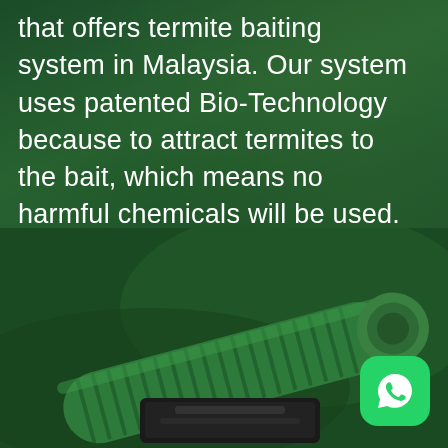that offers termite baiting system in Malaysia. Our system uses patented Bio-Technology because to attract termites to the bait, which means no harmful chemicals will be used. With this system, you can be assured that your home or office will be free from termites. Contact us today for a free quote and inspection!
[Figure (photo): Green termite bait station device — a ridged, elongated green plastic cylinder/tube component with a black base unit, photographed against a dark green background. A WhatsApp icon button appears in the bottom right corner.]